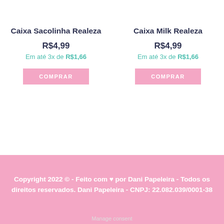Caixa Sacolinha Realeza
R$4,99
Em até 3x de R$1,66
COMPRAR
Caixa Milk Realeza
R$4,99
Em até 3x de R$1,66
COMPRAR
Copyright 2022 © - Feito com ♥ por Dani Papeleira - Todos os direitos reservados. Dani Papeleira - CNPJ: 22.082.039/0001-38
Manage consent